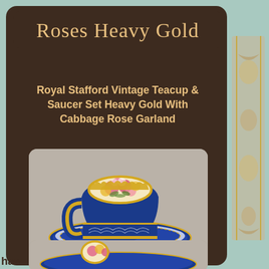Roses Heavy Gold
Royal Stafford Vintage Teacup & Saucer Set Heavy Gold With Cabbage Rose Garland
[Figure (photo): Royal Stafford vintage teacup and saucer set with heavy gold decoration and cabbage rose garland design. The teacup features cobalt blue with pink, yellow, and white roses on white interior, gold handle and gold trim. eBay watermark visible at bottom.]
[Figure (photo): Partial view of the bottom of the Royal Stafford teacup and saucer showing gold decoration and rose pattern.]
haw